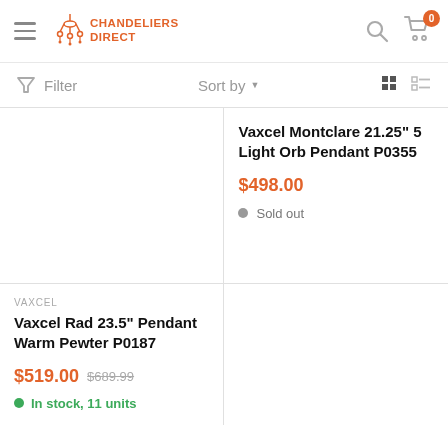Chandeliers Direct - header with hamburger menu, logo, search, cart (0)
Filter  Sort by
Vaxcel Montclare 21.25" 5 Light Orb Pendant P0355
$498.00
Sold out
VAXCEL
Vaxcel Rad 23.5" Pendant Warm Pewter P0187
$519.00  $689.99
In stock, 11 units